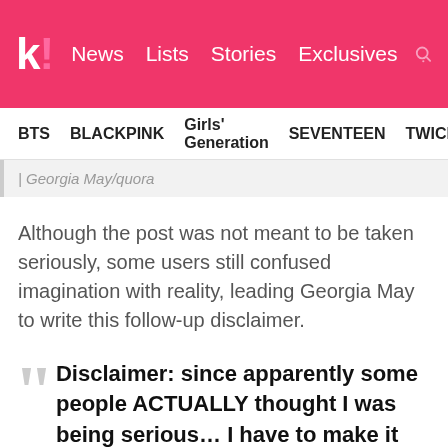K! News Lists Stories Exclusives
BTS  BLACKPINK  Girls' Generation  SEVENTEEN  TWICE
| Georgia May/quora
Although the post was not meant to be taken seriously, some users still confused imagination with reality, leading Georgia May to write this follow-up disclaimer.
Disclaimer: since apparently some people ACTUALLY thought I was being serious… I have to make it clear that this is a joke. BTS have not been arrested, they have definitely never killed anyone. I just have to ask them how they could kill so many of